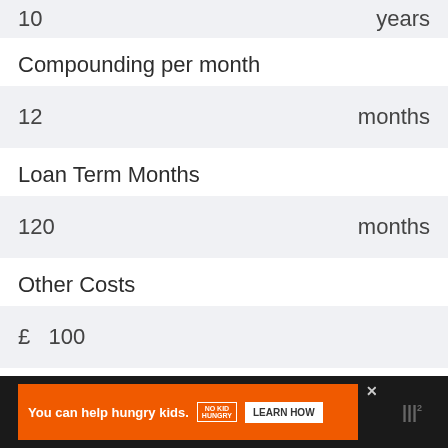| 10 | years |
Compounding per month
| 12 | months |
Loan Term Months
| 120 | months |
Other Costs
| £  100 |  |
[Figure (screenshot): Ad banner: orange background ad reading 'You can help hungry kids.' with No Kid Hungry logo and 'LEARN HOW' button on dark background]